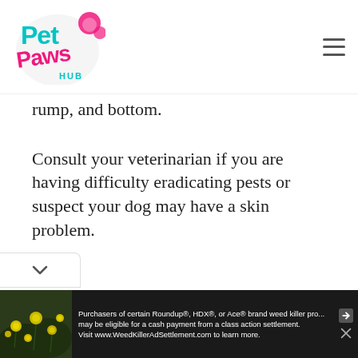Pet Paws Hub
...py, rump, and bottom.
Consult your veterinarian if you are having difficulty eradicating pests or suspect your dog may have a skin problem.
[Figure (photo): Advertisement bar at bottom: photo of yellow flowers on dark background with Roundup class action settlement ad text. 'Purchasers of certain Roundup®, HDX®, or Ace® brand weed killer pro... may be eligible for a cash payment from a class action settlement. Visit www.WeedKillerAdSettlement.com to learn more.']